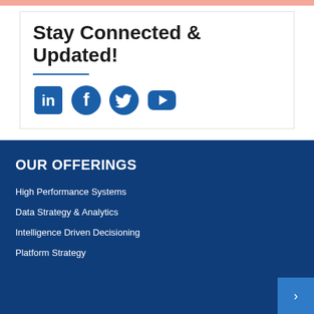Stay Connected & Updated!
[Figure (infographic): Social media icons: LinkedIn, Facebook, Twitter, YouTube in dark blue color]
OUR OFFERINGS
High Performance Systems
Data Strategy & Analytics
Intelligence Driven Decisioning
Platform Strategy